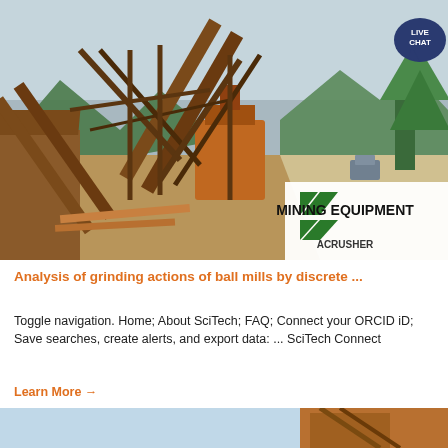[Figure (photo): Outdoor mining/crushing equipment site with rusty conveyor belts and crushers, mountains and road in background. Overlaid logo in bottom-right corner reads 'MINING EQUIPMENT ACRUSHER' with green diagonal stripe graphic. A 'LIVE CHAT' speech bubble badge appears in top-right corner.]
Analysis of grinding actions of ball mills by discrete ...
Toggle navigation. Home; About SciTech; FAQ; Connect your ORCID iD; Save searches, create alerts, and export data: ... SciTech Connect
Learn More →
[Figure (photo): Partial bottom image showing mining/industrial equipment, partially cut off at page bottom.]